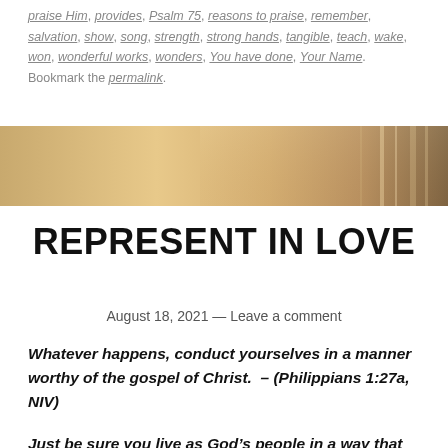praise Him, provides, Psalm 75, reasons to praise, remember, salvation, show, song, strength, strong hands, tangible, teach, wake, won, wonderful works, wonders, You have done, Your Name. Bookmark the permalink.
[Figure (photo): A warm golden-toned hero banner image with light bokeh and vertical lines suggesting reeds or grass in sunlight]
REPRESENT IN LOVE
August 18, 2021 — Leave a comment
Whatever happens, conduct yourselves in a manner worthy of the gospel of Christ.  – (Philippians 1:27a, NIV)
Just be sure you live as God's people in a way that honors the Good News of Christ.